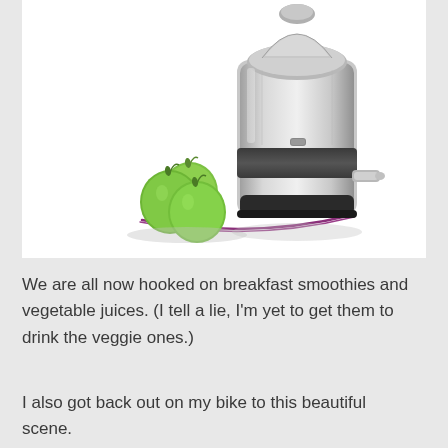[Figure (photo): A stainless steel centrifugal juicer/blender machine with a chrome and black body, featuring a wide-mouth feed tube at the top, a spout on the side, and three green apples arranged in front of it. A purple curved line decorates the base area.]
We are all now hooked on breakfast smoothies and vegetable juices.  (I tell a lie, I'm yet to get them to drink the veggie ones.)
I also got back out on my bike to this beautiful scene.